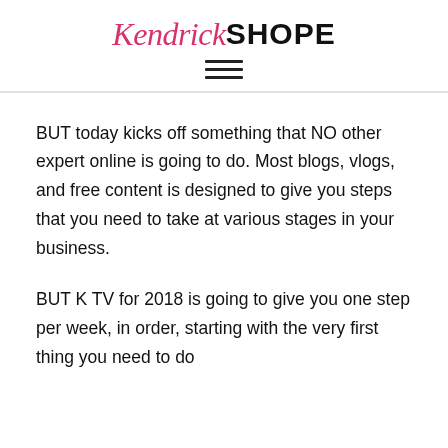Kendrick SHOPE
BUT today kicks off something that NO other expert online is going to do. Most blogs, vlogs, and free content is designed to give you steps that you need to take at various stages in your business.
BUT K TV for 2018 is going to give you one step per week, in order, starting with the very first thing you need to do